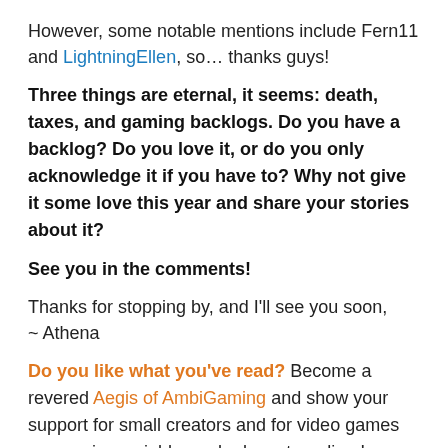However, some notable mentions include Fern11 and LightningEllen, so… thanks guys!
Three things are eternal, it seems: death, taxes, and gaming backlogs. Do you have a backlog? Do you love it, or do you only acknowledge it if you have to? Why not give it some love this year and share your stories about it?
See you in the comments!
Thanks for stopping by, and I'll see you soon,
~ Athena
Do you like what you've read? Become a revered Aegis of AmbiGaming and show your support for small creators and for video games as a serious, viable, and relevant medium!